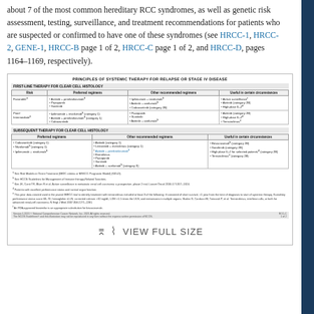about 7 of the most common hereditary RCC syndromes, as well as genetic risk assessment, testing, surveillance, and treatment recommendations for patients who are suspected or confirmed to have one of these syndromes (see HRCC-1, HRCC-2, GENE-1, HRCC-B page 1 of 2, HRCC-C page 1 of 2, and HRCC-D, pages 1164–1169, respectively).
[Figure (table-as-image): NCCN guidelines table: Principles of Systemic Therapy for Relapse or Stage IV Disease. Includes first-line and subsequent therapy sections for clear cell histology with preferred regimens and other recommended regimens columns. Shows drug combinations including axitinib + pembrolizumab, nivolumab, cabozantinib, lenvatinib, sunitinib, and others. Footnotes explain risk models and references. Labeled RCC-C 1 of 2. Includes 'VIEW FULL SIZE' link.]